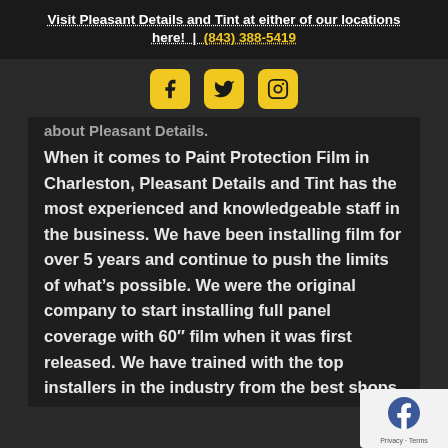Visit Pleasant Details and Tint at either of our locations here! | (843) 388-5419
[Figure (other): Social media icons: Facebook, Twitter, Instagram in yellow rounded squares]
about Pleasant Details.
When it comes to Paint Protection Film in Charleston, Pleasant Details and Tint has the most experienced and knowledgeable staff in the business. We have been installing film for over 5 years and continue to push the limits of what’s possible. We were the original company to start installing full panel coverage with 60″ film when it was first released. We have trained with the top installers in the industry from the best shops